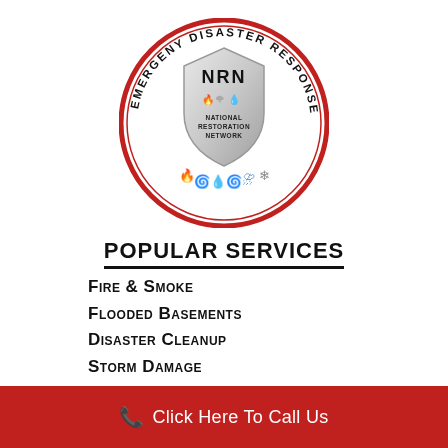[Figure (logo): NRN National Restoration Network Emergency Disaster Response circular logo with shield emblem and disaster icons (fire, water, storm, etc.) surrounded by a red circle with text 'EMERGENY DISASTER RESPONSE']
POPULAR Services
Fire & Smoke
Flooded Basements
Disaster Cleanup
Storm Damage
Click Here To Call Us